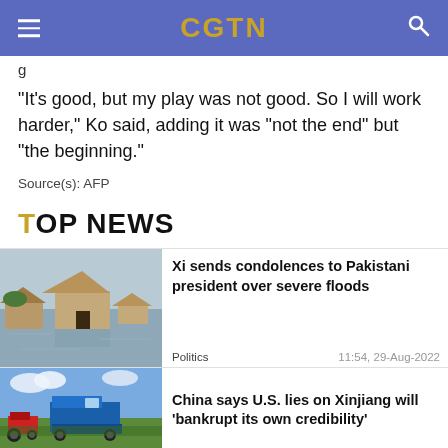CGTN
g
"It's good, but my play was not good. So I will work harder," Ko said, adding it was "not the end" but "the beginning."
Source(s): AFP
TOP NEWS
[Figure (photo): Flooded area with submerged mud huts and water surrounding structures]
Xi sends condolences to Pakistani president over severe floods
Politics   11:54, 29-Aug-2022
[Figure (photo): Agricultural machinery including red tractor and blue harvester in a field]
China says U.S. lies on Xinjiang will 'bankrupt its own credibility'